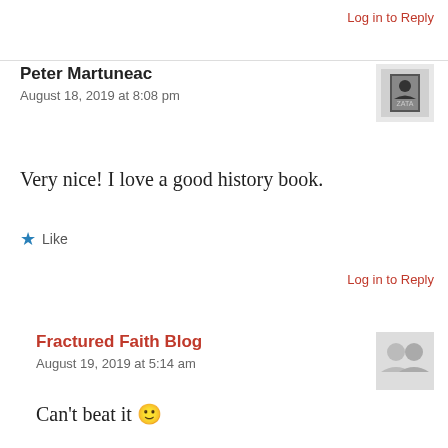Log in to Reply
Peter Martuneac
August 18, 2019 at 8:08 pm
Very nice! I love a good history book.
Like
Log in to Reply
Fractured Faith Blog
August 19, 2019 at 5:14 am
Can't beat it 🙂